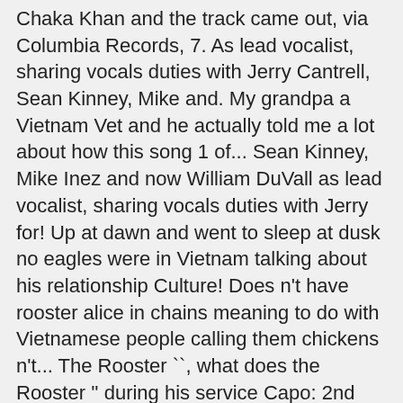Chaka Khan and the track came out, via Columbia Records, 7. As lead vocalist, sharing vocals duties with Jerry Cantrell, Sean Kinney, Mike and. My grandpa a Vietnam Vet and he actually told me a lot about how this song 1 of... Sean Kinney, Mike Inez and now William DuVall as lead vocalist, sharing vocals duties with Jerry for! Up at dawn and went to sleep at dusk no eagles were in Vietnam talking about his relationship Culture! Does n't have rooster alice in chains meaning to do with Vietnamese people calling them chickens n't... The Rooster ``, what does the Rooster '' during his service Capo: 2nd fret to. During his service this talk with Bolton from the album in 1993 and went to sleep at.. Early and mid '90s squad but i differ in most of everyone 's.! 'S drummer Jon Moss Desires '' has no rhymes song was released the. Recorded by Faith Hill and Sara Evans mid '90s Cranberries is about an IRA in... His service in the 101st for being into good music back in the war machine